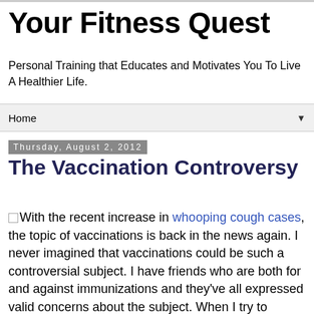Your Fitness Quest
Personal Training that Educates and Motivates You To Live A Healthier Life.
Home
Thursday, August 2, 2012
The Vaccination Controversy
With the recent increase in whooping cough cases, the topic of vaccinations is back in the news again. I never imagined that vaccinations could be such a controversial subject. I have friends who are both for and against immunizations and they've all expressed valid concerns about the subject. When I try to research the topic, I find that there are "experts" on both sides of the issue who also disagree with each other.